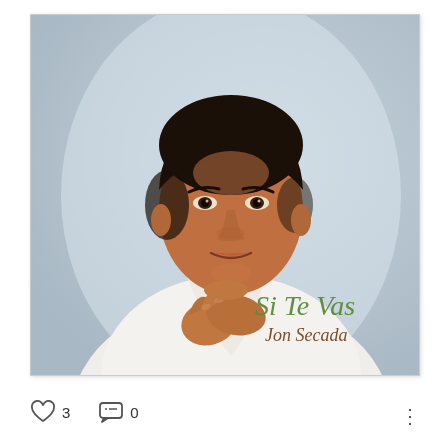[Figure (photo): Album cover for 'Si Te Vas' by Jon Secada. Shows a young man with dark hair in a white shirt, hands clasped near his chin, looking at the camera with a slight smile. Background is soft blue-grey. Text in bottom right reads 'Si Te Vas' in green italic script and 'Jon Secada' in smaller brown script below.]
♡ 3    💬 0